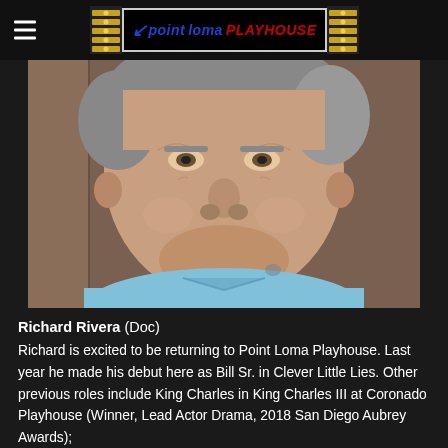Point Loma Playhouse
[Figure (photo): Headshot of Richard Rivera, an older man with gray hair wearing a light blue shirt, smiling, photographed against a wooden background.]
Richard Rivera (Doc) Richard is excited to be returning to Point Loma Playhouse. Last year he made his debut here as Bill Sr. in Clever Little Lies. Other previous roles include King Charles in King Charles III at Coronado Playhouse (Winner, Lead Actor Drama, 2018 San Diego Aubrey Awards);